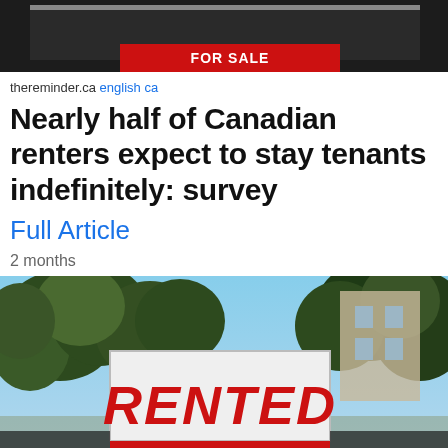[Figure (photo): Top portion of a real estate 'FOR SALE' sign with red banner on dark background]
thereminder.ca english ca
Nearly half of Canadian renters expect to stay tenants indefinitely: survey
Full Article
2 months
[Figure (photo): A white real estate sign reading 'RENTED' in large red italic letters, with a red 'FOR SALE' banner at the bottom, trees and sky in background]